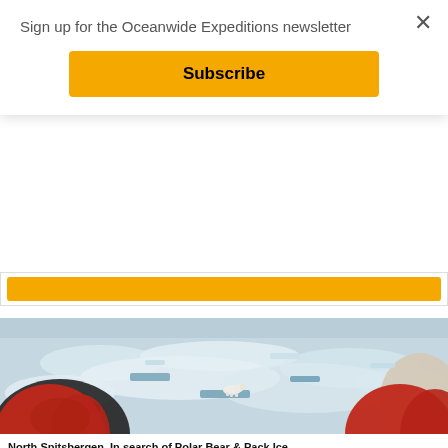Sign up for the Oceanwide Expeditions newsletter
Subscribe
[Figure (photo): Two people in red jackets viewed from behind, watching a polar bear on pack ice in the Arctic. The landscape is covered with floating ice chunks and open water.]
North Spitsbergen. In search of Polar Bear & Pack Ice